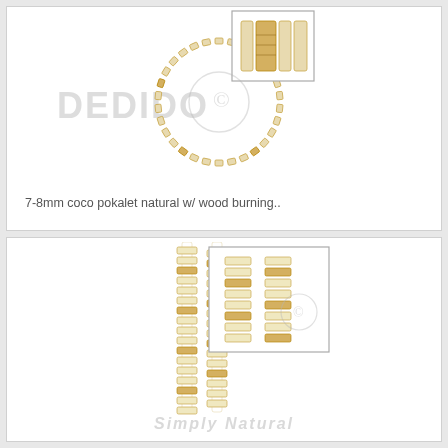[Figure (photo): Product photo of a coco pokalet natural bracelet with wood burning design. A circular bracelet made of flat disc-shaped beads in natural cream/tan color with golden brown wood-burned accents. An inset close-up box in upper right shows detail of the beads. Watermark 'DEDIDO' visible across the image.]
7-8mm coco pokalet natural w/ wood burning..
[Figure (photo): Product photo of coco pokalet natural beads strand with wood burning design. Two strands of flat disc-shaped beads in natural cream/tan color with golden brown wood-burned accents. An inset close-up box shows detail. 'Simply Natural' watermark visible.]